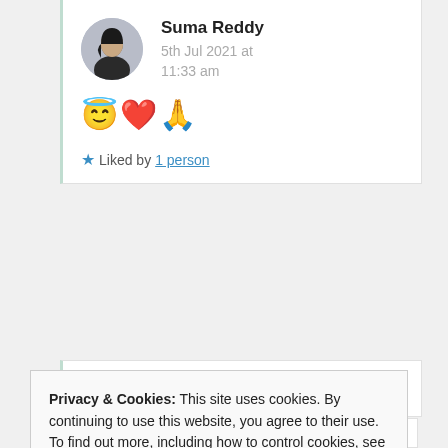[Figure (photo): User avatar photo of Suma Reddy, a woman with long dark hair]
Suma Reddy
5th Jul 2021 at 11:33 am
😇❤️🙏
Liked by 1 person
Privacy & Cookies: This site uses cookies. By continuing to use this website, you agree to their use.
To find out more, including how to control cookies, see here: Cookie Policy
Close and accept
Like